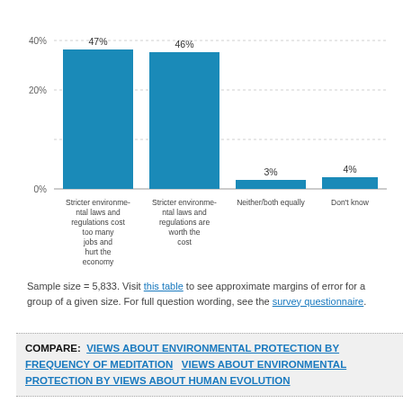[Figure (bar-chart): ]
Sample size = 5,833. Visit this table to see approximate margins of error for a group of a given size. For full question wording, see the survey questionnaire.
COMPARE: VIEWS ABOUT ENVIRONMENTAL PROTECTION BY FREQUENCY OF MEDITATION   VIEWS ABOUT ENVIRONMENTAL PROTECTION BY VIEWS ABOUT HUMAN EVOLUTION